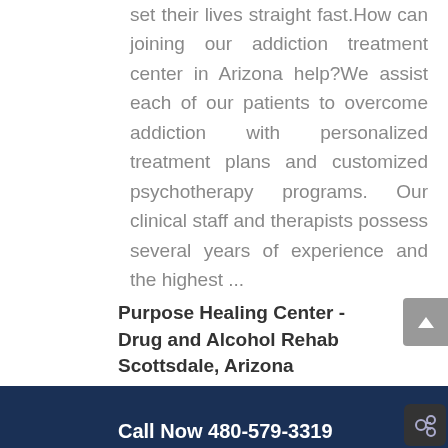set their lives straight fast.How can joining our addiction treatment center in Arizona help?We assist each of our patients to overcome addiction with personalized treatment plans and customized psychotherapy programs. Our clinical staff and therapists possess several years of experience and the highest ...
Purpose Healing Center - Drug and Alcohol Rehab Scottsdale, Arizona
480-579-3319
9332 N 95th Way Suite B-203
Scottsdale AZ 85258
Call Now 480-579-3319